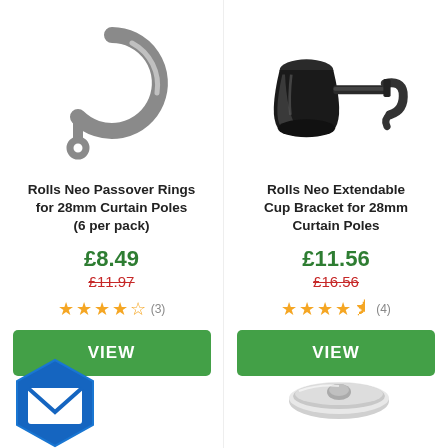[Figure (photo): Rolls Neo Passover Rings for 28mm curtain poles - silver/nickel C-shaped clip rings]
Rolls Neo Passover Rings for 28mm Curtain Poles (6 per pack)
£8.49
£11.97
★★★★☆ (3)
VIEW
[Figure (photo): Rolls Neo Extendable Cup Bracket for 28mm curtain poles - dark/gun metal bracket with hook]
Rolls Neo Extendable Cup Bracket for 28mm Curtain Poles
£11.56
£16.56
★★★★½ (4)
VIEW
[Figure (logo): Blue hexagon email/contact badge icon]
[Figure (photo): Chrome circular bracket/ceiling bracket for curtain poles - bottom right partial view]